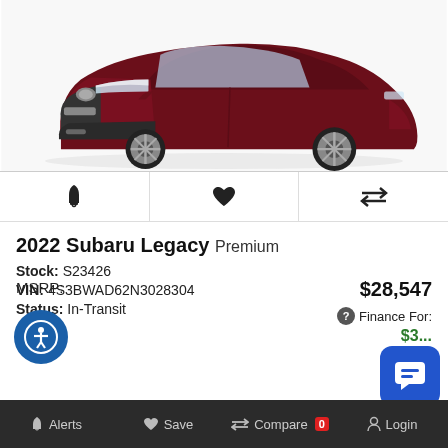[Figure (photo): Front three-quarter view of a dark red/maroon 2022 Subaru Legacy sedan on white background]
[Figure (infographic): Row of three icon buttons: bell/alert icon, heart/save icon, and compare arrows icon]
2022 Subaru Legacy Premium
Stock: S23426
VIN: 4S3BWAD62N3028304
Status: In-Transit
MSRP: $28,547
Finance For: $3...
Alerts  Save  Compare 0  Login